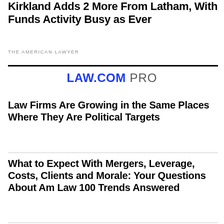Kirkland Adds 2 More From Latham, With Funds Activity Busy as Ever
THE AMERICAN LAWYER
[Figure (logo): LAW.COM PRO logo with LAW.COM in bold blue and PRO in gray]
Law Firms Are Growing in the Same Places Where They Are Political Targets
What to Expect With Mergers, Leverage, Costs, Clients and Morale: Your Questions About Am Law 100 Trends Answered